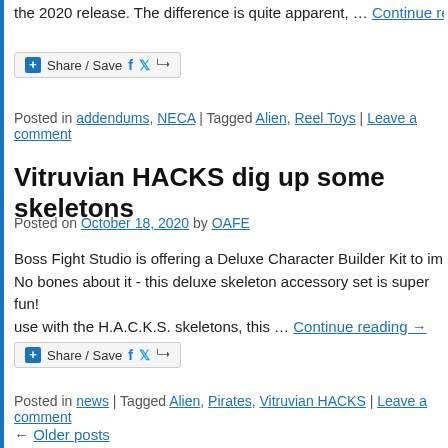the 2020 release. The difference is quite apparent, … Continue reading
Share / Save
Posted in addendums, NECA | Tagged Alien, Reel Toys | Leave a comment
Vitruvian HACKS dig up some skeletons
Posted on October 18, 2020 by OAFE
Boss Fight Studio is offering a Deluxe Character Builder Kit to im... No bones about it - this deluxe skeleton accessory set is super fun! use with the H.A.C.K.S. skeletons, this … Continue reading →
Share / Save
Posted in news | Tagged Alien, Pirates, Vitruvian HACKS | Leave a comment
← Older posts